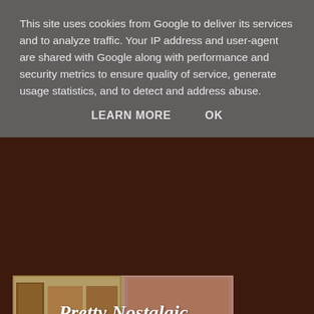This site uses cookies from Google to deliver its services and to analyze traffic. Your IP address and user-agent are shared with Google along with performance and security metrics to ensure quality of service, generate usage statistics, and to detect and address abuse.
LEARN MORE    OK
[Figure (photo): Collage image showing Pretty Nostalgic magazine with script text overlay reading 'Pretty Nostalgic', with sub-images of magazine covers and a knitted/crocheted item.]
Dragging myself away because I wanted to find Nicole from Pretty Nostalgic, you may remember I made the flag for this magazine and we have spoken so many times on the phone and emailed one another BUT never met in person.  So I went to her table where she was selling Pretty Nostalgic magazine back issues as well as the latest edition and I walked up to her and she recognised me from my photo on here and we had